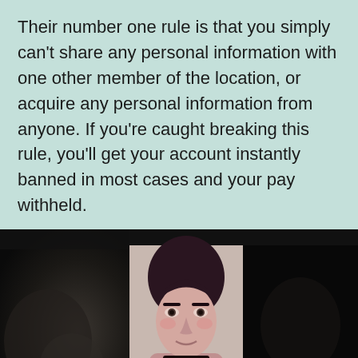Their number one rule is that you simply can't share any personal information with one other member of the location, or acquire any personal information from anyone. If you're caught breaking this rule, you'll get your account instantly banned in most cases and your pay withheld.
[Figure (photo): A composite of three video frames side by side: left panel shows a dark blurry scene, center panel shows a young woman with dark hair pulled back, fair skin, wearing a choker necklace and dark clothing, right panel shows a very dark scene with minimal detail.]